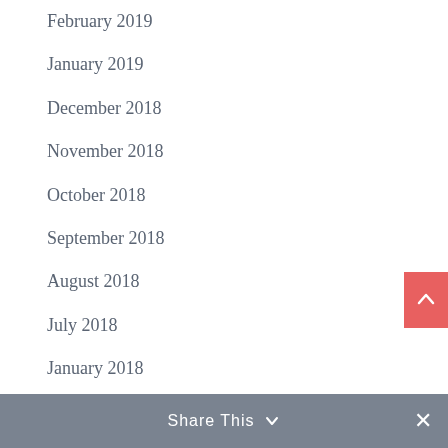February 2019
January 2019
December 2018
November 2018
October 2018
September 2018
August 2018
July 2018
January 2018
CATEGORIES
Budgeting
Business